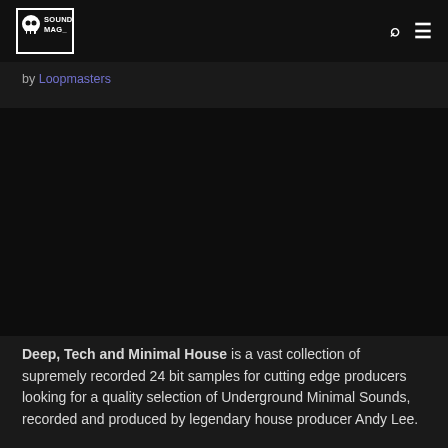SOUNDS MAG_
by Loopmasters
[Figure (photo): Dark background image area, nearly black, associated with Deep, Tech and Minimal House music pack]
Deep, Tech and Minimal House is a vast collection of supremely recorded 24 bit samples for cutting edge producers looking for a quality selection of Underground Minimal Sounds, recorded and produced by legendary house producer Andy Lee.